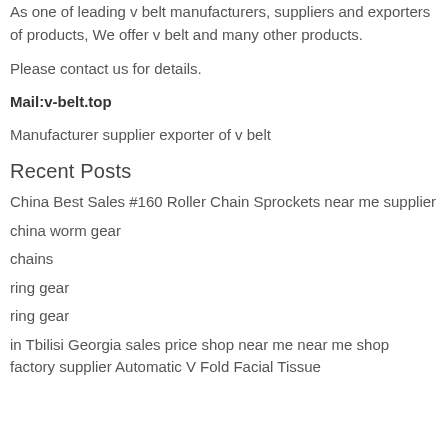As one of leading v belt manufacturers, suppliers and exporters of products, We offer v belt and many other products.
Please contact us for details.
Mail:v-belt.top
Manufacturer supplier exporter of v belt
Recent Posts
China Best Sales #160 Roller Chain Sprockets near me supplier
china worm gear
chains
ring gear
ring gear
in Tbilisi Georgia sales price shop near me near me shop factory supplier Automatic V Fold Facial Tissue